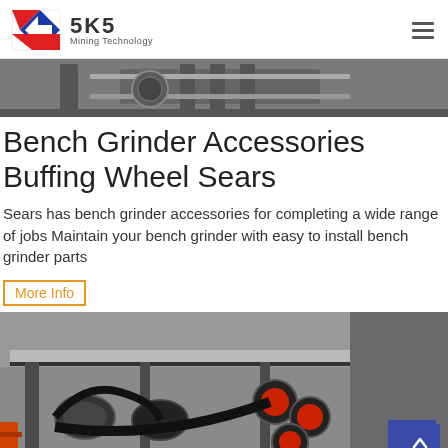SKS Mining Technology
[Figure (photo): Top photo of industrial mining equipment, grey machinery frame]
Bench Grinder Accessories Buffing Wheel Sears
Sears has bench grinder accessories for completing a wide range of jobs Maintain your bench grinder with easy to install bench grinder parts
More Info
[Figure (photo): Bottom photo of industrial grinding/milling machine underside showing belts, rollers and metal frame structure]